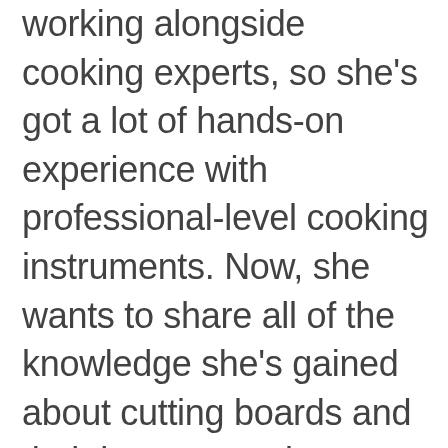working alongside cooking experts, so she's got a lot of hands-on experience with professional-level cooking instruments. Now, she wants to share all of the knowledge she's gained about cutting boards and their importance in your cooking routine with you!